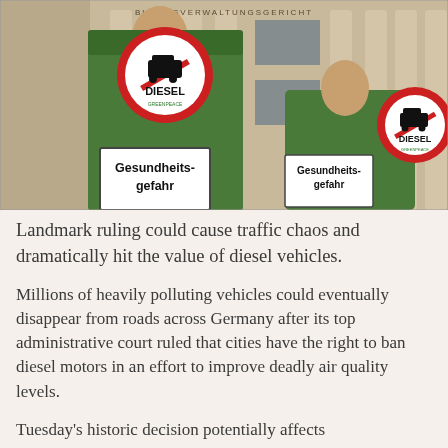[Figure (photo): Two Greenpeace activists in green jackets standing in front of the Bundesverwaltungsgericht (Federal Administrative Court) building, holding signs. The signs include red circular 'DIESEL' prohibition signs and rectangular white signs reading 'Gesundheitsgefahr' (health hazard).]
Landmark ruling could cause traffic chaos and dramatically hit the value of diesel vehicles.
Millions of heavily polluting vehicles could eventually disappear from roads across Germany after its top administrative court ruled that cities have the right to ban diesel motors in an effort to improve deadly air quality levels.
Tuesday's historic decision potentially affects